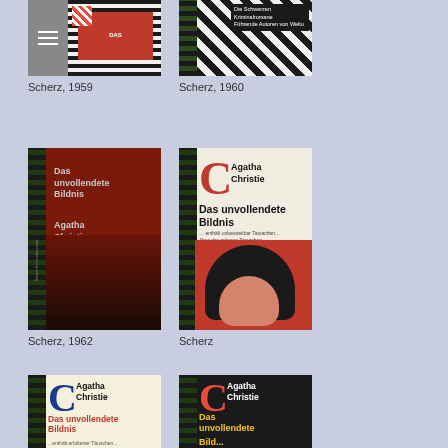[Figure (photo): Book cover: Scherz striped red/black design, 1959]
Scherz, 1959
[Figure (photo): Book cover: Scherz diagonal stripe black/white with text, 1960]
Scherz, 1960
[Figure (photo): Book cover: Das unvollendete Bildnis by Agatha Christie, Scherz, 1962, dark vertical stripes with red background and cannon]
Scherz, 1962
[Figure (photo): Book cover: Das unvollendete Bildnis by Agatha Christie, Scherz, with woman in hat on red background]
Scherz
[Figure (photo): Book cover: Das unvollendete Bildnis by Agatha Christie, cream background with blue C initial, partially visible]
[Figure (photo): Book cover: Das unvollendete Bildnis by Agatha Christie, black background with red/yellow text, partially visible]